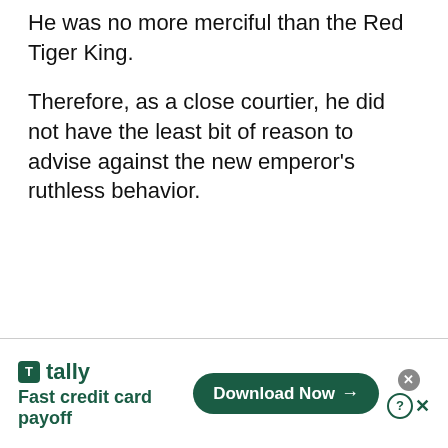He was no more merciful than the Red Tiger King.
Therefore, as a close courtier, he did not have the least bit of reason to advise against the new emperor's ruthless behavior.
[Figure (other): Advertisement banner for Tally app. Shows Tally logo with green icon and brand name, tagline 'Fast credit card payoff', and a green 'Download Now' button with arrow. Close buttons visible.]